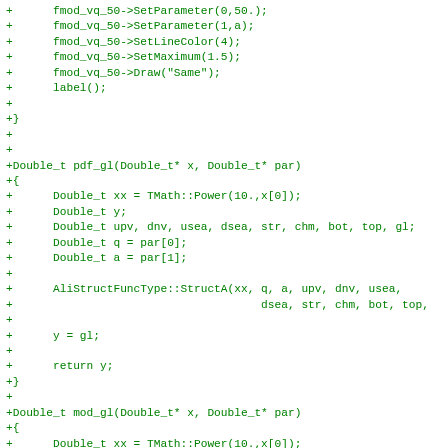+      fmod_vq_50->SetParameter(0,50.);
+      fmod_vq_50->SetParameter(1,a);
+      fmod_vq_50->SetLineColor(4);
+      fmod_vq_50->SetMaximum(1.5);
+      fmod_vq_50->Draw("Same");
+      label();
+
+}
+
+
+Double_t pdf_gl(Double_t* x, Double_t* par)
+{
+      Double_t xx = TMath::Power(10.,x[0]);
+      Double_t y;
+      Double_t upv, dnv, usea, dsea, str, chm, bot, top, gl;
+      Double_t q = par[0];
+      Double_t a = par[1];
+
+      AliStructFuncType::StructA(xx, q, a, upv, dnv, usea,
+                                     dsea, str, chm, bot, top,
+
+      y = gl;
+
+      return y;
+}
+
+Double_t mod_gl(Double_t* x, Double_t* par)
+{
+      Double_t xx = TMath::Power(10.,x[0]);
+      Double_t y;
+      Double_t upv, dnv, usea, dsea, str, chm, bot, top, gl;
+      Double_t q = par[0];
+      Double_t a = par[1];